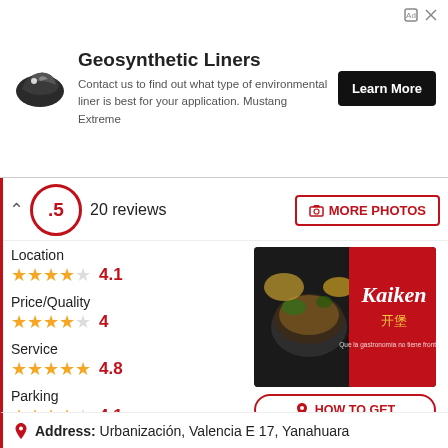[Figure (screenshot): Advertisement banner for Geosynthetic Liners by Mustang Extreme with logo, description text, and Learn More button]
20 reviews
MORE PHOTOS
Location
4.1
Price/Quality
4
[Figure (photo): Kaiken restaurant photo showing Asian food dishes with the Kaiken logo]
Service
4.8
HOW TO GET
Parking
4.1
TO CALL
Wifi quality
4.5
WHATSAPP
WEB PAGE
Address: Urbanización, Valencia E 17, Yanahuara